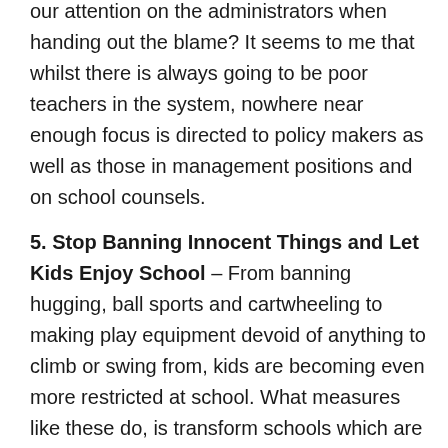The question has to be asked: At what point do we focus our attention on the administrators when handing out the blame? It seems to me that whilst there is always going to be poor teachers in the system, nowhere near enough focus is directed to policy makers as well as those in management positions and on school counsels.
5. Stop Banning Innocent Things and Let Kids Enjoy School – From banning hugging, ball sports and cartwheeling to making play equipment devoid of anything to climb or swing from, kids are becoming even more restricted at school. What measures like these do, is transform schools which are already unnatural places for children and make them even more dreary and dictatorial.
What's next – banning students from complimenting each other?
It's about time we started matching school bans on...